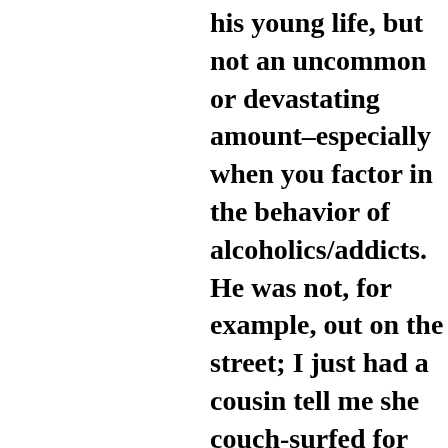his young life, but not an uncommon or devastating amount–especially when you factor in the behavior of alcoholics/addicts. He was not, for example, out on the street; I just had a cousin tell me she couch-surfed for two years. I did not